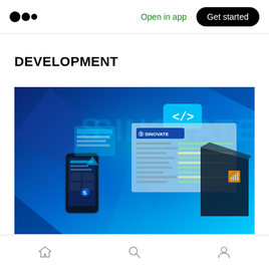Medium logo | Open in app | Get started
DEVELOPMENT
[Figure (illustration): SINOVATE branded technology/development promotional image showing a laptop, smartphone, and floating UI elements with code brackets on a blue glowing background with SINOVATE logo and branding.]
Home | Search | Profile navigation icons